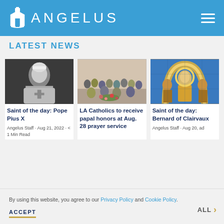ANGELUS
LATEST NEWS
[Figure (photo): Black and white photo of Pope Pius X seated on throne in papal vestments]
Saint of the day: Pope Pius X
Angelus Staff · Aug 21, 2022 · < 1 Min Read
[Figure (photo): Group photo of LA Catholics at a gathering indoors with flowers]
LA Catholics to receive papal honors at Aug. 28 prayer service
[Figure (photo): Byzantine mosaic depicting Saint Bernard of Clairvaux with golden halo and figures]
Saint of the day: Bernard of Clairvaux
Angelus Staff · Aug 20, ad
By using this website, you agree to our Privacy Policy and Cookie Policy.
ACCEPT
ALL